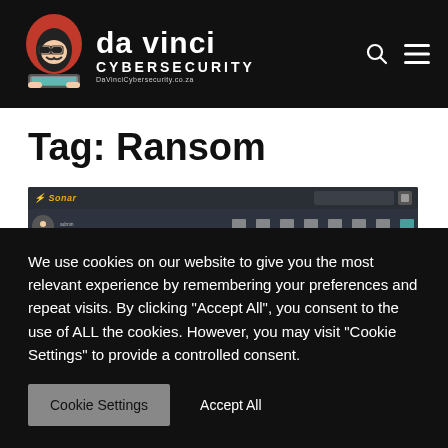da vinci CYBERSECURITY — DaVinciCybersecurity.co.za
Tag: Ransom
[Figure (screenshot): Screenshot of the Sonar web application interface showing a dark navigation bar with user avatar, nav icons, and a gold accent bar.]
We use cookies on our website to give you the most relevant experience by remembering your preferences and repeat visits. By clicking "Accept All", you consent to the use of ALL the cookies. However, you may visit "Cookie Settings" to provide a controlled consent.
Cookie Settings   Accept All